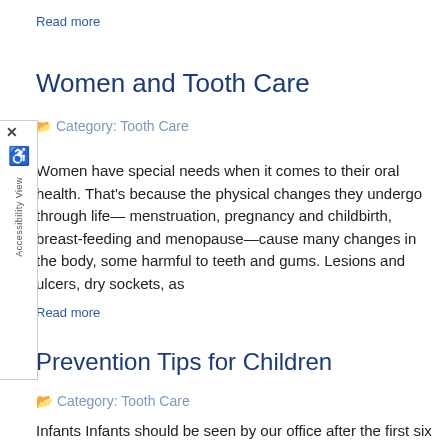Read more
Women and Tooth Care
Category: Tooth Care
Women have special needs when it comes to their oral health. That's because the physical changes they undergo through life—menstruation, pregnancy and childbirth, breast-feeding and menopause—cause many changes in the body, some harmful to teeth and gums. Lesions and ulcers, dry sockets, as
Read more
Prevention Tips for Children
Category: Tooth Care
Infants Infants should be seen by our office after the first six months of age, and at least by the child's first birthday. By this time, the habits for the cavity process that they determined